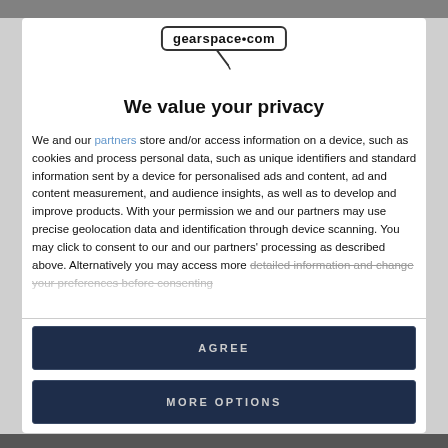THE NO4
[Figure (logo): gearspace.com logo in a rounded rectangle border with a microphone icon below]
We value your privacy
We and our partners store and/or access information on a device, such as cookies and process personal data, such as unique identifiers and standard information sent by a device for personalised ads and content, ad and content measurement, and audience insights, as well as to develop and improve products. With your permission we and our partners may use precise geolocation data and identification through device scanning. You may click to consent to our and our partners' processing as described above. Alternatively you may access more detailed information and change your preferences before consenting
AGREE
MORE OPTIONS